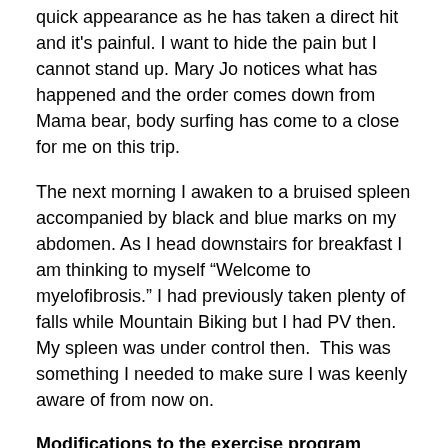quick appearance as he has taken a direct hit and it's painful. I want to hide the pain but I cannot stand up. Mary Jo notices what has happened and the order comes down from Mama bear, body surfing has come to a close for me on this trip.
The next morning I awaken to a bruised spleen accompanied by black and blue marks on my abdomen. As I head downstairs for breakfast I am thinking to myself “Welcome to myelofibrosis.” I had previously taken plenty of falls while Mountain Biking but I had PV then. My spleen was under control then.  This was something I needed to make sure I was keenly aware of from now on.
Modifications to the exercise program
For the next couple of months when I attempted crunches or tried to rise out of my seat while cycling I would